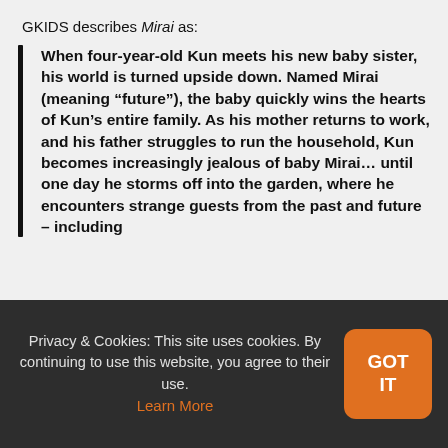GKIDS describes Mirai as:
When four-year-old Kun meets his new baby sister, his world is turned upside down. Named Mirai (meaning “future”), the baby quickly wins the hearts of Kun’s entire family. As his mother returns to work, and his father struggles to run the household, Kun becomes increasingly jealous of baby Mirai… until one day he storms off into the garden, where he encounters strange guests from the past and future – including
Privacy & Cookies: This site uses cookies. By continuing to use this website, you agree to their use. Learn More